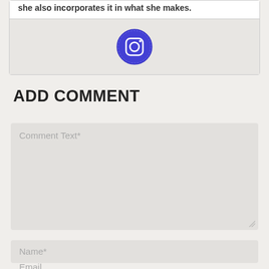she also incorporates it in what she makes.
[Figure (logo): Instagram icon - blue circle with white camera outline]
ADD COMMENT
Comment Text*
Name*
Email